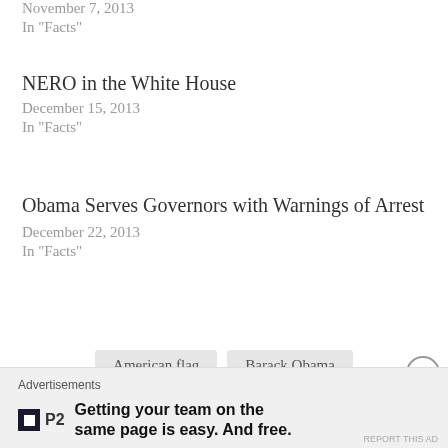November 7, 2013
In "Facts"
NERO in the White House
December 15, 2013
In "Facts"
Obama Serves Governors with Warnings of Arrest
December 22, 2013
In "Facts"
American flag
Barack Obama
Bill Clinton
George H. W. Bush
Advertisements
Getting your team on the same page is easy. And free.